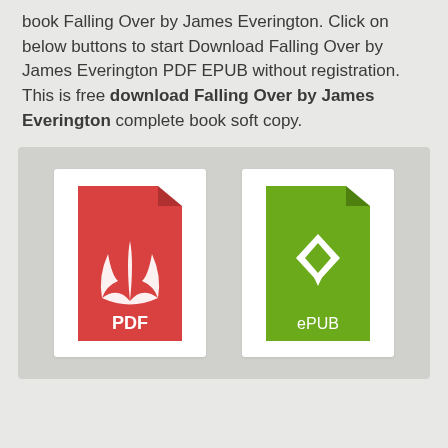book Falling Over by James Everington. Click on below buttons to start Download Falling Over by James Everington PDF EPUB without registration. This is free download Falling Over by James Everington complete book soft copy.
[Figure (illustration): Two download buttons side by side: a red PDF file icon with Adobe Acrobat logo and 'PDF' label, and a green ePUB file icon with ePub logo and 'ePUB' label, on a light grey background panel.]